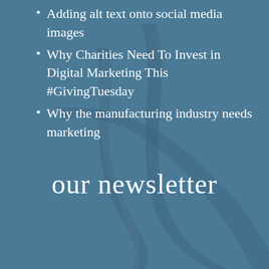Adding alt text onto social media images
Why Charities Need To Invest in Digital Marketing This #GivingTuesday
Why the manufacturing industry needs marketing
our newsletter